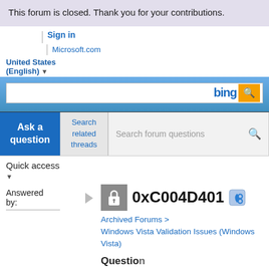This forum is closed. Thank you for your contributions.
Sign in | Microsoft.com
United States (English)
[Figure (screenshot): Bing search bar with blue gradient background and orange search button]
Ask a question
Search related threads
Search forum questions
Quick access
Answered by:
0xC004D401
Archived Forums > Windows Vista Validation Issues (Windows Vista)
Question